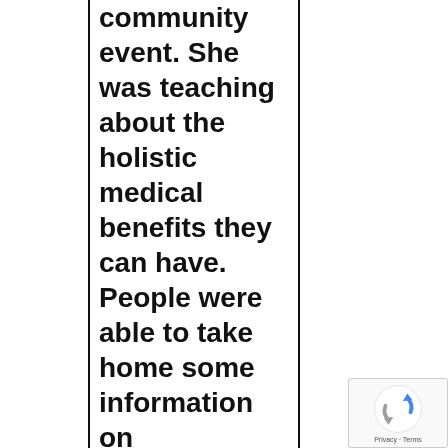community event. She was teaching about the holistic medical benefits they can have. People were able to take home some information on
[Figure (logo): reCAPTCHA badge with Google logo and Privacy - Terms text]